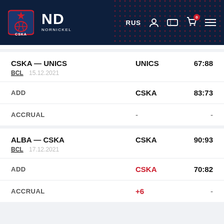CSKA NORNICKEL | RUS | Navigation icons
CSKA — UNICS | UNICS | 67:88
BCL 15.12.2021
ADD | CSKA | 83:73
ACCRUAL | - | -
ALBA — CSKA | CSKA | 90:93
BCL 17.12.2021
ADD | CSKA | 70:82
ACCRUAL | +6 | -